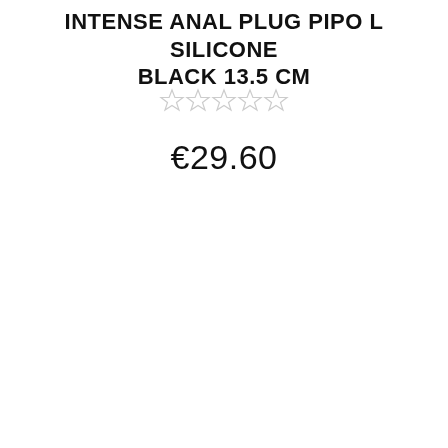INTENSE ANAL PLUG PIPO L SILICONE BLACK 13.5 CM
[Figure (other): Five empty star rating icons (no fill, light gray outline), indicating zero rating]
€29.60